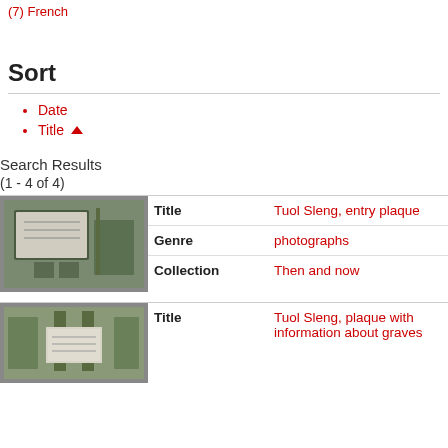(7) French
Sort
Date
Title ▲
Search Results
(1 - 4 of 4)
| Title | Tuol Sleng, entry plaque |
| --- | --- |
| Genre | photographs |
| Collection | Then and now |
[Figure (photo): Thumbnail photo of Tuol Sleng entry plaque sign structure]
| Title | Tuol Sleng, plaque with information about graves |
| --- | --- |
[Figure (photo): Thumbnail photo of Tuol Sleng plaque with information about graves]